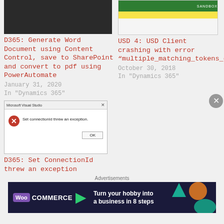[Figure (screenshot): Screenshot of code editor (dark theme, Visual Studio or similar) showing file tree and code]
D365: Generate Word Document using Content Control, save to SharePoint and convert to pdf using PowerAutomate
January 31, 2020
In "Dynamics 365"
[Figure (screenshot): Screenshot of USD 4 sandbox interface with green header bar, yellow strip, and white area]
USD 4: USD Client crashing with error “multiple_matching_tokens_detected”
October 30, 2018
In "Dynamics 365"
[Figure (screenshot): Microsoft Visual Studio dialog box showing error: Set connectionId threw an exception. With OK button.]
D365: Set ConnectionId threw an exception
Advertisements
[Figure (infographic): WooCommerce advertisement banner: dark background with WooCommerce logo and text 'Turn your hobby into a business in 8 steps' with colorful arrow shapes]